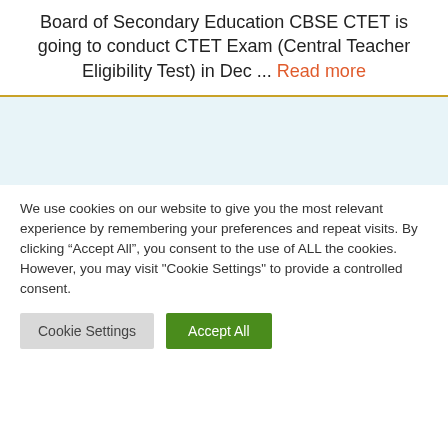Board of Secondary Education CBSE CTET is going to conduct CTET Exam (Central Teacher Eligibility Test) in Dec ... Read more
[Figure (other): Light blue advertisement/banner box with golden horizontal divider above it]
We use cookies on our website to give you the most relevant experience by remembering your preferences and repeat visits. By clicking “Accept All”, you consent to the use of ALL the cookies. However, you may visit "Cookie Settings" to provide a controlled consent.
Cookie Settings | Accept All